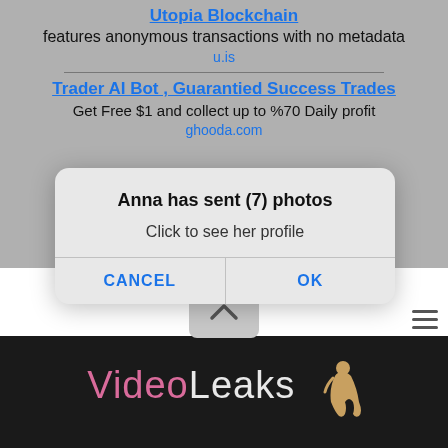Utopia Blockchain
features anonymous transactions with no metadata
u.is
Trader AI Bot , Guarantied Success Trades
Get Free $1 and collect up to %70 Daily profit
ghooda.com
[Figure (screenshot): Mobile dialog box: 'Anna has sent (7) photos. Click to see her profile.' with CANCEL and OK buttons]
[Figure (logo): VideoLeaks logo in pink and white on dark background with a female silhouette figure]